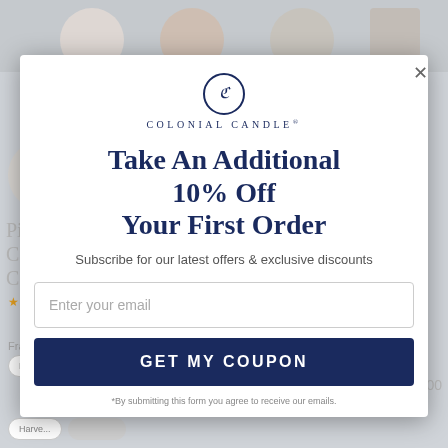[Figure (screenshot): Colonial Candle website popup modal with promotional offer]
Take An Additional 10% Off Your First Order
Subscribe for our latest offers & exclusive discounts
Enter your email
GET MY COUPON
*By submitting this form you agree to receive our emails.